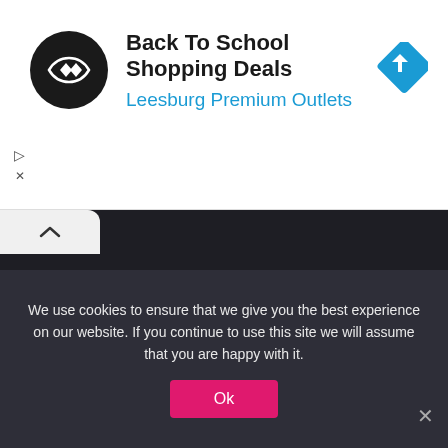[Figure (advertisement): Ad banner for Back To School Shopping Deals at Leesburg Premium Outlets with a circular black logo with double arrow icon and a blue diamond navigation icon]
Back To School Shopping Deals
Leesburg Premium Outlets
About Us
Around here at cetabtitan.com, Our site is focused on sharing organization's news and teaching the max of individuals we can about
We use cookies to ensure that we give you the best experience on our website. If you continue to use this site we will assume that you are happy with it.